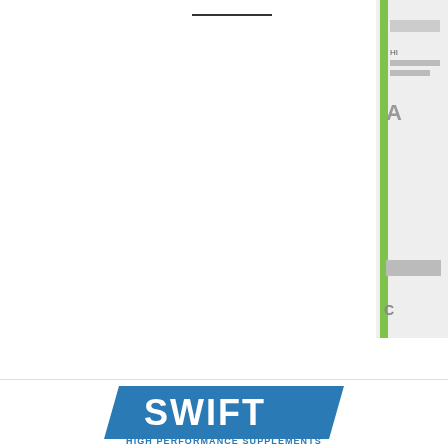[Figure (photo): Partial product image visible at right edge, showing supplement container with green label]
MAGCHARGE
$29.97
RE C
[Figure (logo): Swift High Performance Supplements logo — blue parallelogram background with white SWIFT text and HIGH PERFORMANCE SUPPLEMENTS tagline below]